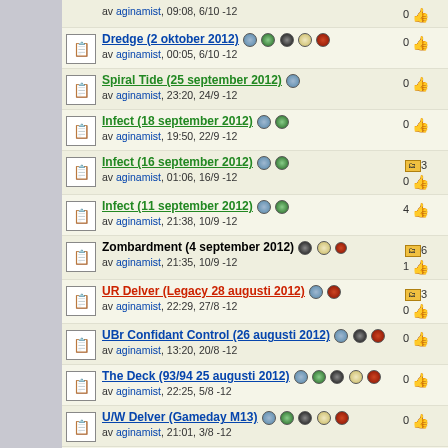av aginamist, 09:08, 6/10 -12 | 0
Dredge (2 oktober 2012) | av aginamist, 00:05, 6/10 -12 | 0
Spiral Tide (25 september 2012) | av aginamist, 23:20, 24/9 -12 | 0
Infect (18 september 2012) | av aginamist, 19:50, 22/9 -12 | 0
Infect (16 september 2012) | av aginamist, 01:06, 16/9 -12 | 3 | 0
Infect (11 september 2012) | av aginamist, 21:38, 10/9 -12 | 4
Zombardment (4 september 2012) | av aginamist, 21:35, 10/9 -12 | 6 | 1
UR Delver (Legacy 28 augusti 2012) | av aginamist, 22:29, 27/8 -12 | 3 | 0
UBr Confidant Control (26 augusti 2012) | av aginamist, 13:20, 20/8 -12 | 0
The Deck (93/94 25 augusti 2012) | av aginamist, 22:25, 5/8 -12 | 0
U/W Delver (Gameday M13) | av aginamist, 21:01, 3/8 -12 | 0
Dredge (Legacy 31 juli 2012) | av aginamist, 00:01, 1/8 -12 | 7 | 2
The Deck 93/94 (Warcon 21 juli 2012) | av aginamist